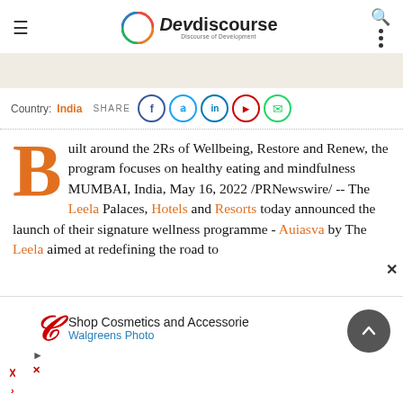Devdiscourse — Discourse of Development
Country: India  SHARE
Built around the 2Rs of Wellbeing, Restore and Renew, the program focuses on healthy eating and mindfulness MUMBAI, India, May 16, 2022 /PRNewswire/ -- The Leela Palaces, Hotels and Resorts today announced the launch of their signature wellness programme - Auiasva by The Leela aimed at redefining the road to
[Figure (screenshot): Walgreens Photo advertisement banner: Shop Cosmetics and Accessories, Walgreens Photo]